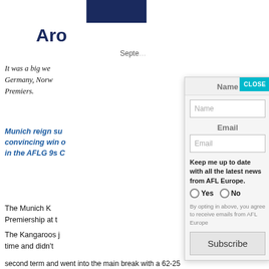[Figure (logo): Dark blue rectangular logo bar centered at top]
Aro...
Septe...
It was a big we... Germany, Norw... Premiers.
Munich reign su... convincing win c... in the AFLG 9s C...
The Munich K... Premiership at t...
The Kangaroos j... time and didn't...
second term and went into the main break with a 62-25
Name (modal label)
Email (modal label)
Keep me up to date with all the latest news from AFL Europe.
By opting in above, you agree to receive emails from AFL Europe
Subscribe